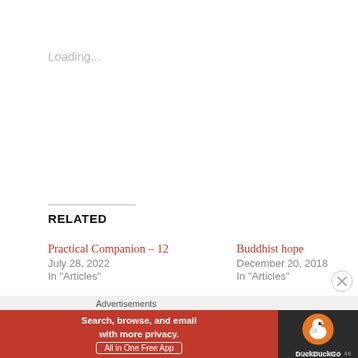Loading...
RELATED
Practical Companion – 12
July 28, 2022
In "Articles"
Buddhist hope
December 20, 2018
In "Articles"
More about Karma
November 3, 2019
In "Articles"
Advertisements
[Figure (screenshot): DuckDuckGo advertisement banner: 'Search, browse, and email with more privacy. All in One Free App' with DuckDuckGo logo on dark background]